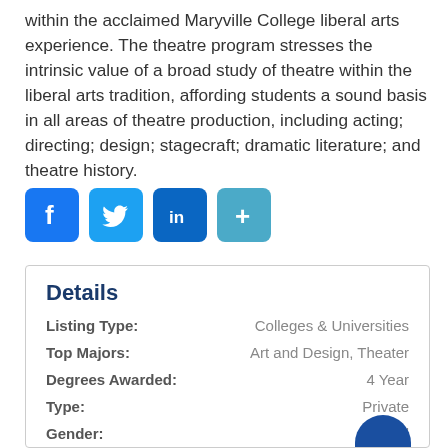within the acclaimed Maryville College liberal arts experience. The theatre program stresses the intrinsic value of a broad study of theatre within the liberal arts tradition, affording students a sound basis in all areas of theatre production, including acting; directing; design; stagecraft; dramatic literature; and theatre history.
[Figure (infographic): Social media share icons: Facebook (blue), Twitter (light blue), LinkedIn (dark blue), and a generic share button (teal)]
Details
| Field | Value |
| --- | --- |
| Listing Type: | Colleges & Universities |
| Top Majors: | Art and Design, Theater |
| Degrees Awarded: | 4 Year |
| Type: | Private |
| Gender: | Coed |
| Country: | United States |